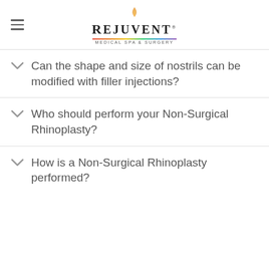Rejuvent Medical Spa & Surgery
Can the shape and size of nostrils can be modified with filler injections?
Who should perform your Non-Surgical Rhinoplasty?
How is a Non-Surgical Rhinoplasty performed?